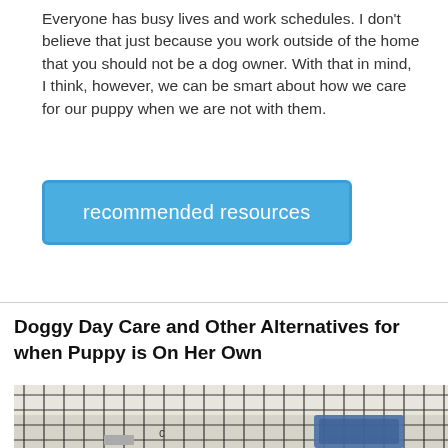Everyone has busy lives and work schedules. I don't believe that just because you work outside of the home that you should not be a dog owner. With that in mind, I think, however, we can be smart about how we care for our puppy when we are not with them.
[Figure (other): A blue rounded-rectangle button with white text reading 'recommended resources']
Doggy Day Care and Other Alternatives for when Puppy is On Her Own
[Figure (photo): Photo of a wire dog pen/crate enclosure with a blue pet carrier or bed visible inside, on a light-colored floor]